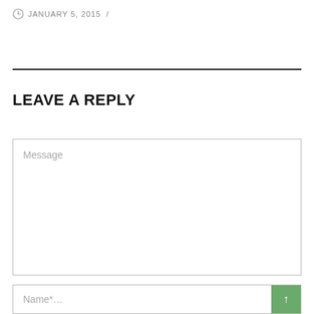JANUARY 5, 2015  /
LEAVE A REPLY
Message
Name*...